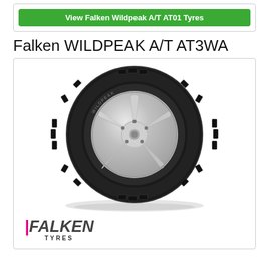[Figure (other): Green button with white text: View Falken Wildpeak A/T AT01 Tyres]
Falken WILDPEAK A/T AT3WA
[Figure (photo): Photo of a Falken WILDPEAK A/T AT3WA tyre mounted on a silver alloy wheel, shown at an angle. The Falken Tyres logo with italic text and pink accent appears at the bottom left of the product box.]